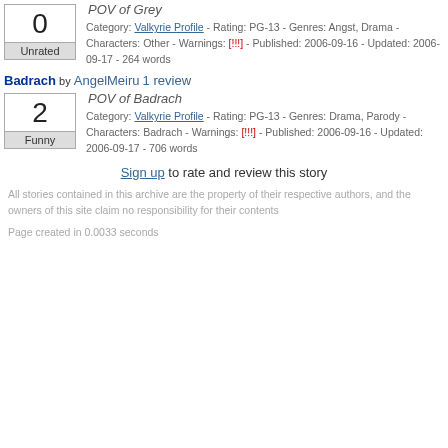POV of Grey
Category: Valkyrie Profile - Rating: PG-13 - Genres: Angst, Drama - Characters: Other - Warnings: [!!!] - Published: 2006-09-16 - Updated: 2006-09-17 - 264 words
Badrach by AngelMeiru 1 review
POV of Badrach
Category: Valkyrie Profile - Rating: PG-13 - Genres: Drama, Parody - Characters: Badrach - Warnings: [!!!] - Published: 2006-09-16 - Updated: 2006-09-17 - 706 words
Sign up to rate and review this story
All stories contained in this archive are the property of their respective authors, and the owners of this site claim no responsibility for their contents
Page created in 0.0033 seconds